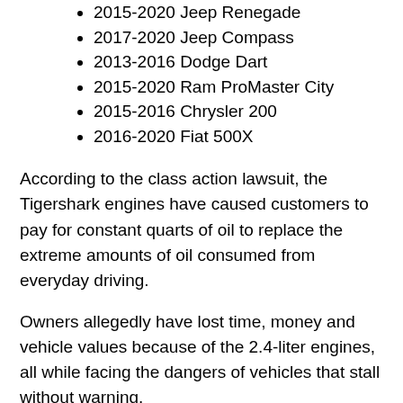2015-2020 Jeep Renegade
2017-2020 Jeep Compass
2013-2016 Dodge Dart
2015-2020 Ram ProMaster City
2015-2016 Chrysler 200
2016-2020 Fiat 500X
According to the class action lawsuit, the Tigershark engines have caused customers to pay for constant quarts of oil to replace the extreme amounts of oil consumed from everyday driving.
Owners allegedly have lost time, money and vehicle values because of the 2.4-liter engines, all while facing the dangers of vehicles that stall without warning.
Owners complain about vehicles that stall when making turns or accelerating and decelerating, creating serious safety hazards and making the